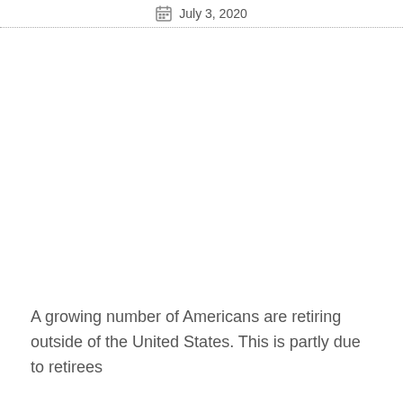July 3, 2020
A growing number of Americans are retiring outside of the United States. This is partly due to retirees